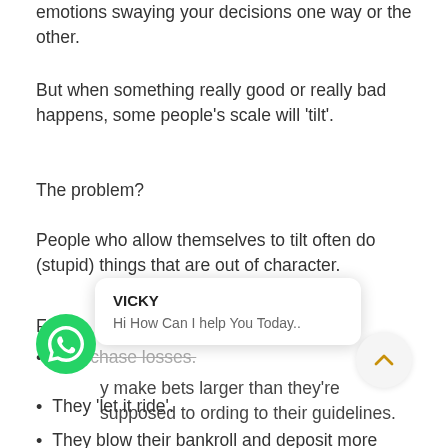emotions swaying your decisions one way or the other.
But when something really good or really bad happens, some people's scale will 'tilt'.
The problem?
People who allow themselves to tilt often do (stupid) things that are out of character.
For
they chase losses.
y make bets larger than they're supposed to ording to their guidelines.
They 'let it ride'.
They blow their bankroll and deposit more
[Figure (screenshot): WhatsApp chat popup with name VICKY and message 'Hi How Can I help You Today..']
[Figure (other): WhatsApp green circle icon button]
[Figure (other): Up arrow scroll-to-top button]